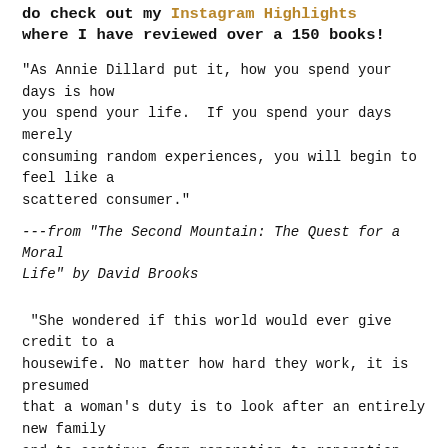do check out my Instagram Highlights where I have reviewed over a 150 books!
"As Annie Dillard put it, how you spend your days is how you spend your life. If you spend your days merely consuming random experiences, you will begin to feel like a scattered consumer."
---from "The Second Mountain: The Quest for a Moral Life" by David Brooks
"She wondered if this world would ever give credit to a housewife. No matter how hard they work, it is presumed that a woman's duty is to look after an entirely new family and to continue from generation to generation for the rest of...